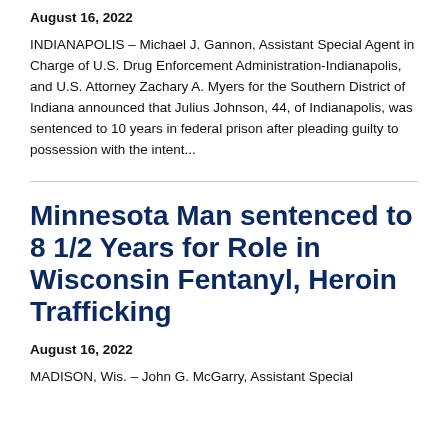August 16, 2022
INDIANAPOLIS – Michael J. Gannon, Assistant Special Agent in Charge of U.S. Drug Enforcement Administration-Indianapolis, and U.S. Attorney Zachary A. Myers for the Southern District of Indiana announced that Julius Johnson, 44, of Indianapolis, was sentenced to 10 years in federal prison after pleading guilty to possession with the intent...
Minnesota Man sentenced to 8 1/2 Years for Role in Wisconsin Fentanyl, Heroin Trafficking
August 16, 2022
MADISON, Wis. – John G. McGarry, Assistant Special